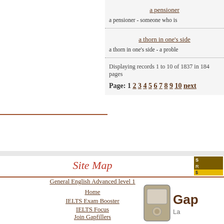a pensioner
a pensioner - someone who is
a thorn in one's side
a thorn in one's side - a proble
Displaying records 1 to 10 of 1837 in 184 pages
Page: 1 2 3 4 5 6 7 8 9 10 next
Site Map
General English Advanced level 1
Home
IELTS Exam Booster
IELTS Focus
Join Gapfillers
Word of the Day
Blogs
English Language Exercises
[Figure (logo): Gapfillers mobile device logo with text 'Gap' and 'La']